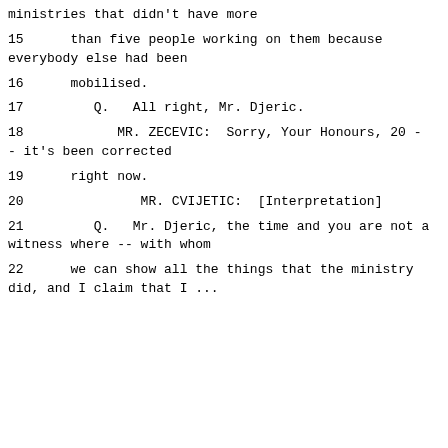ministries that didn't have more
15      than five people working on them because everybody else had been
16      mobilised.
17         Q.   All right, Mr. Djeric.
18            MR. ZECEVIC:  Sorry, Your Honours, 20 -- it's been corrected
19      right now.
20               MR. CVIJETIC:  [Interpretation]
21         Q.   Mr. Djeric, the time and you are not a witness where -- with whom
22      we can show all the things that the ministry did, and I claim that I ...